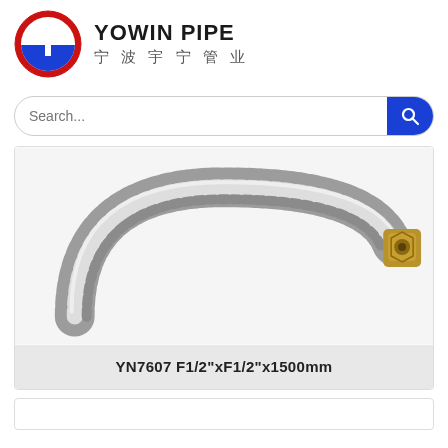[Figure (logo): Yowin Pipe company logo: circular emblem with Y letter in red, white and blue, beside bold text YOWIN PIPE and Chinese characters 宁波宇宁管业]
YOWIN PIPE 宁波宇宁管业
Search...
[Figure (photo): Close-up photo of a stainless steel braided flexible hose coiled in an arc, with a metal fitting/nut visible at the right end. The hose has a corrugated metallic appearance.]
YN7607 F1/2"xF1/2"x1500mm